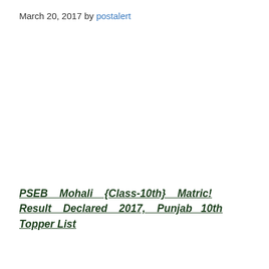March 20, 2017 by postalert
PSEB Mohali {Class-10th} Matric! Result Declared 2017, Punjab 10th Topper List